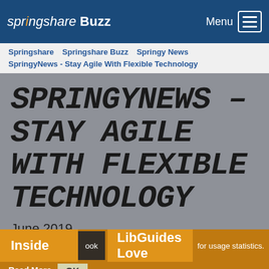springshare Buzz
Springshare  Springshare Buzz  Springy News  SpringyNews - Stay Agile With Flexible Technology
SPRINGYNEWS - STAY AGILE WITH FLEXIBLE TECHNOLOGY
June 2019
Inside  LibGuides Love  for usage statistics.
Read More  OK
Spotlight: LibAnswers  Stretch